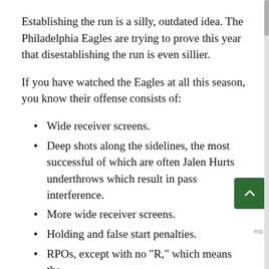Establishing the run is a silly, outdated idea. The Philadelphia Eagles are trying to prove this year that disestablishing the run is even sillier.
If you have watched the Eagles at all this season, you know their offense consists of:
Wide receiver screens.
Deep shots along the sidelines, the most successful of which are often Jalen Hurts underthrows which result in pass interference.
More wide receiver screens.
Holding and false start penalties.
RPOs, except with no "R," which means the is really no "O."
Occasional read-options where Hurts almost always keeps the ball.
Rare handoffs to Miles Sanders. The Lincoln